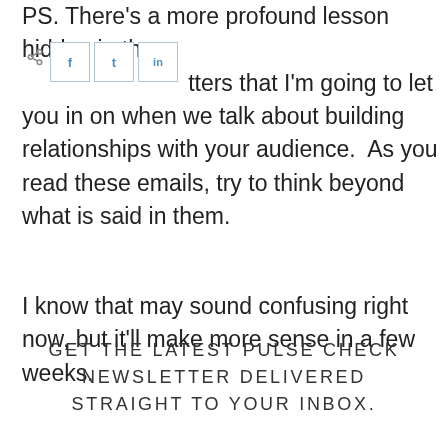PS. There's a more profound lesson hidden in these newsletters that I'm going to let you in on when we talk about building relationships with your audience.  As you read these emails, try to think beyond what is said in them.
I know that may sound confusing right now, but it'll make more sense in a few weeks.
GET THE LATEST PULSE CHECK NEWSLETTER DELIVERED STRAIGHT TO YOUR INBOX.